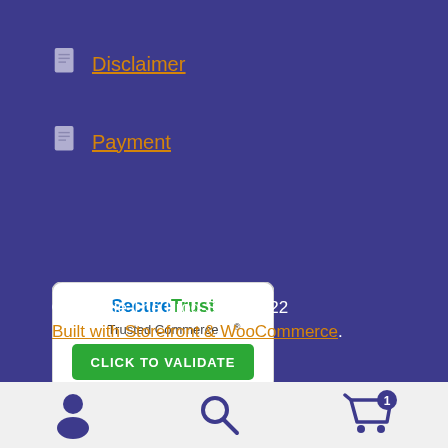Disclaimer
Payment
[Figure (logo): SecureTrust Trusted Commerce CLICK TO VALIDATE badge]
© Freddie The Frog Store 2022
Built with Storefront & WooCommerce.
[Figure (infographic): Bottom navigation bar with person/account icon, search icon, and cart icon with badge showing 1]